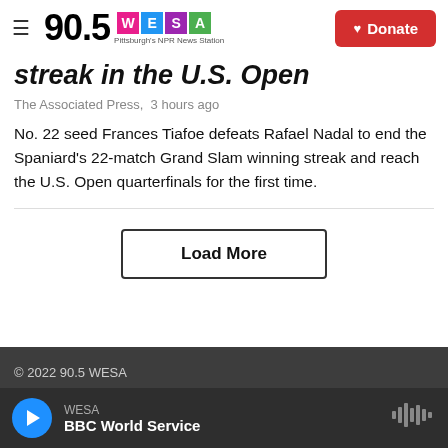90.5 WESA Pittsburgh's NPR News Station | Donate
streak in the U.S. Open
The Associated Press,  3 hours ago
No. 22 seed Frances Tiafoe defeats Rafael Nadal to end the Spaniard's 22-match Grand Slam winning streak and reach the U.S. Open quarterfinals for the first time.
Load More
© 2022 90.5 WESA
WESA
BBC World Service